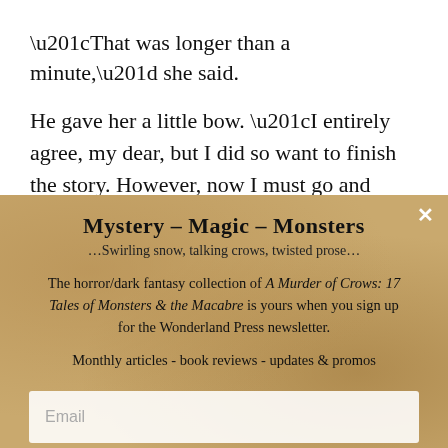“That was longer than a minute,” she said.
He gave her a little bow. “I entirely agree, my dear, but I did so want to finish the story. However, now I must go and develop the picture.” He disappeared
Mystery – Magic – Monsters
…Swirling snow, talking crows, twisted prose…
The horror/dark fantasy collection of A Murder of Crows: 17 Tales of Monsters & the Macabre is yours when you sign up for the Wonderland Press newsletter.
Monthly articles - book reviews - updates & promos